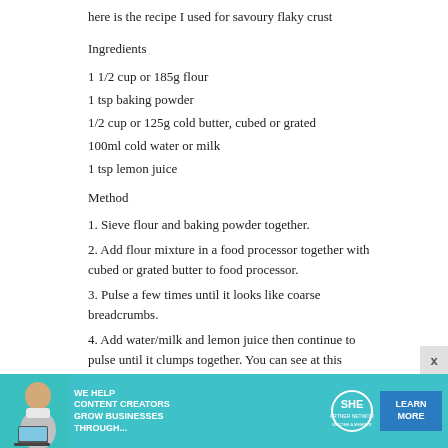here is the recipe I used for savoury flaky crust
Ingredients
1 1/2 cup or 185g flour
1 tsp baking powder
1/2 cup or 125g cold butter, cubed or grated
100ml cold water or milk
1 tsp lemon juice
Method
1. Sieve flour and baking powder together.
2. Add flour mixture in a food processor together with cubed or grated butter to food processor.
3. Pulse a few times until it looks like coarse breadcrumbs.
4. Add water/milk and lemon juice then continue to pulse until it clumps together. You can see at this
[Figure (infographic): Advertisement banner for SHE Partner Network. Teal/cyan background with a woman sitting with a laptop, bold white text reading WE HELP CONTENT CREATORS GROW BUSINESSES THROUGH..., SHE Partner Network logo, and a blue LEARN MORE button.]